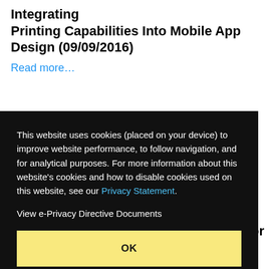Integrating Printing Capabilities Into Mobile App Design (09/09/2016)
Read more…
enge
16)
This website uses cookies (placed on your device) to improve website performance, to follow navigation, and for analytical purposes. For more information about this website's cookies and how to disable cookies used on this website, see our Privacy Statement.
View e-Privacy Directive Documents
OK
or
Enabling Print in Your Mobile App (07/09/2016)